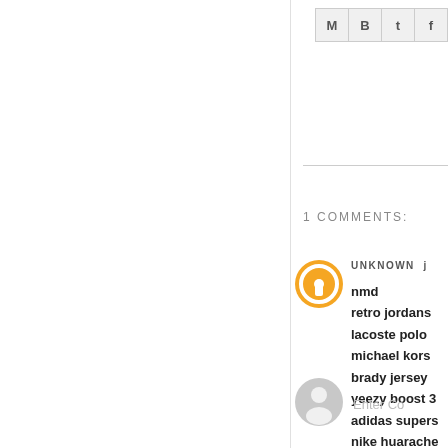[Figure (other): Social sharing icons: M (email), B (Blogger), t (Twitter), f (Facebook) in gray bordered boxes]
1 COMMENTS:
[Figure (other): Orange Blogger avatar circle with B logo]
UNKNOWN
nmd
retro jordans
lacoste polo
michael kors
brady jersey
yeezy boost 3
adidas supers
nike huarache
michael jorda
vibram fivefin
Reply
[Figure (other): Gray default user avatar circle]
Enter Co